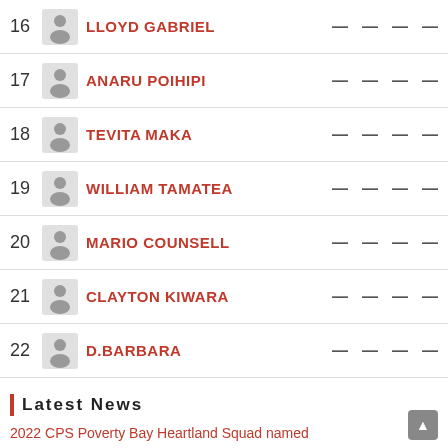16 LLOYD GABRIEL — — — —
17 ANARU POIHIPI — — — —
18 TEVITA MAKA — — — —
19 WILLIAM TAMATEA — — — —
20 MARIO COUNSELL — — — —
21 CLAYTON KIWARA — — — —
22 D.BARBARA — — — —
Latest News
2022 CPS Poverty Bay Heartland Squad named